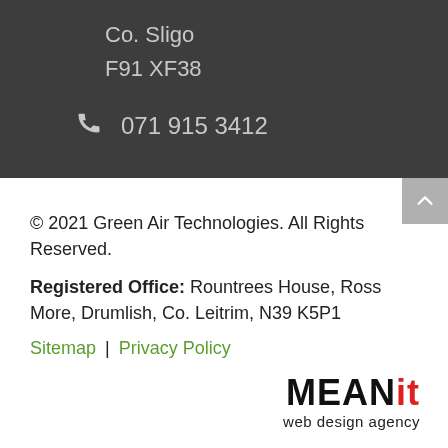Co. Sligo
F91 XF38
071 915 3412
© 2021 Green Air Technologies. All Rights Reserved.
Registered Office: Rountrees House, Ross More, Drumlish, Co. Leitrim, N39 K5P1
Sitemap | Privacy Policy
[Figure (logo): MEANit web design agency logo with red 'it' text]